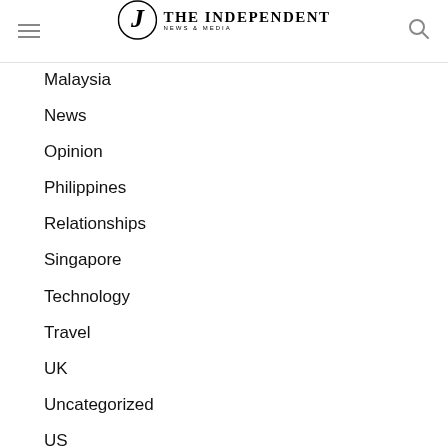THE INDEPENDENT NEWS & MEDIA
Malaysia
News
Opinion
Philippines
Relationships
Singapore
Technology
Travel
UK
Uncategorized
US
World